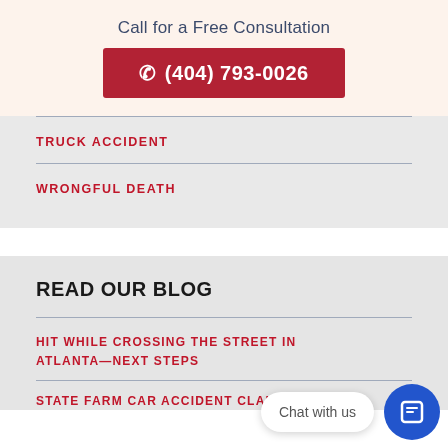Call for a Free Consultation
(404) 793-0026
TRUCK ACCIDENT
WRONGFUL DEATH
READ OUR BLOG
HIT WHILE CROSSING THE STREET IN ATLANTA—NEXT STEPS
STATE FARM CAR ACCIDENT CLAIMS - TIPS